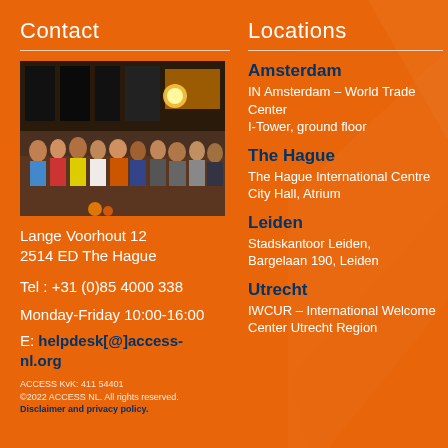Contact
[Figure (photo): Group photo of people at ACCESS NL gathering in a restaurant/cafe setting]
Lange Voorhout 12
2514 ED The Hague
Tel : +31 (0)85 4000 338
Monday-Friday 10:00-16:00
E: helpdesk[@]access-nl.org
ACCESS KvK: 411 54401
©2022 ACCESS NL. All rights reserved.
Disclaimer and privacy policy.
Locations
Amsterdam
IN Amsterdam – World Trade Center
I-Tower, ground floor
The Hague
The Hague International Centre
City Hall, Atrium
Leiden
Stadskantoor Leiden,
Bargelaan 190, Leiden
Utrecht
IWCUR – International Welcome Center Utrecht Region